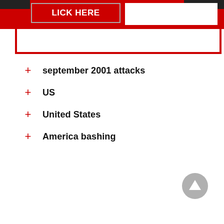[Figure (screenshot): Red header bar with CLICK HERE button and search box with red border]
september 2001 attacks
US
United States
America bashing